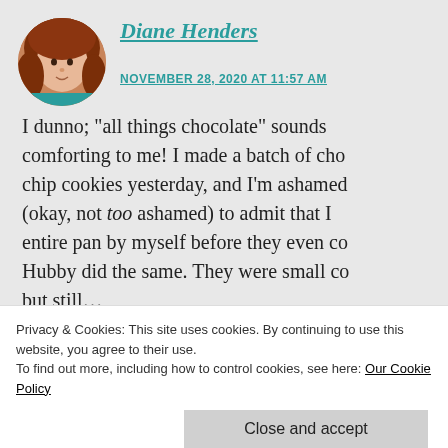[Figure (photo): Circular avatar photo of Diane Henders, a woman with reddish-brown hair wearing a teal top]
Diane Henders
NOVEMBER 28, 2020 AT 11:57 AM
I dunno; “all things chocolate” sounds comforting to me! I made a batch of cho chip cookies yesterday, and I’m ashamed (okay, not too ashamed) to admit that I entire pan by myself before they even c Hubby did the same. They were small co but still…
Privacy & Cookies: This site uses cookies. By continuing to use this website, you agree to their use.
To find out more, including how to control cookies, see here: Our Cookie Policy
Close and accept